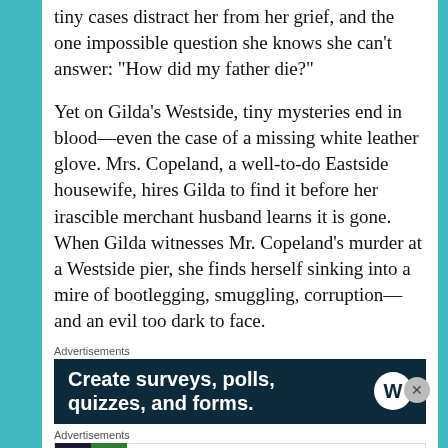tiny cases distract her from her grief, and the one impossible question she knows she can't answer: “How did my father die?”
Yet on Gilda’s Westside, tiny mysteries end in blood—even the case of a missing white leather glove. Mrs. Copeland, a well-to-do Eastside housewife, hires Gilda to find it before her irascible merchant husband learns it is gone. When Gilda witnesses Mr. Copeland’s murder at a Westside pier, she finds herself sinking into a mire of bootlegging, smuggling, corruption—and an evil too dark to face.
Advertisements
[Figure (screenshot): Advertisement banner: dark navy background with white bold text 'Create surveys, polls, quizzes, and forms.' with WordPress logo]
Advertisements
[Figure (screenshot): Advertisement banner: white background with Pocket Casts app promo 'The go-to app for podcast lovers.' with Pocket Casts logo]